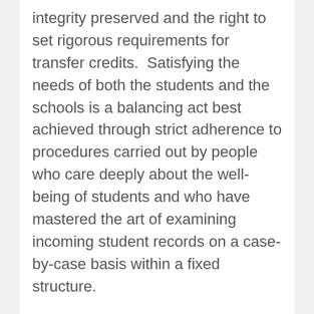integrity preserved and the right to set rigorous requirements for transfer credits.  Satisfying the needs of both the students and the schools is a balancing act best achieved through strict adherence to procedures carried out by people who care deeply about the well-being of students and who have mastered the art of examining incoming student records on a case-by-case basis within a fixed structure.
To ensure consistency for both schools and students, the framework comes first.  It must include explicit procedures to follow in several key areas: determining the authenticity of documents, how to determine transfer credits, and rules to govern the translation of documents presented in a foreign language.